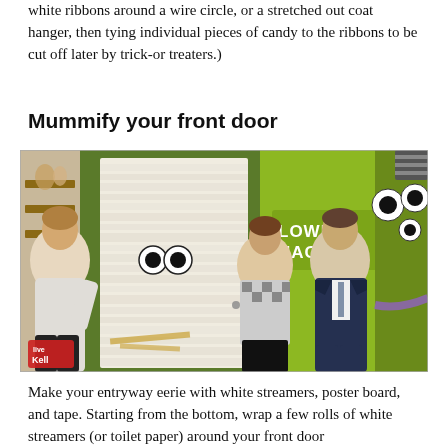white ribbons around a wire circle, or a stretched out coat hanger, then tying individual pieces of candy to the ribbons to be cut off later by trick-or treaters.)
Mummify your front door
[Figure (photo): TV show set with three people standing near a door wrapped in white streamers to look like a mummy, with googly eyes. A yellow-green backdrop has 'LOWEEN HACKS' text. A 'live Kelly' logo appears in the bottom left.]
Make your entryway eerie with white streamers, poster board, and tape. Starting from the bottom, wrap a few rolls of white streamers (or toilet paper) around your front door and leave...